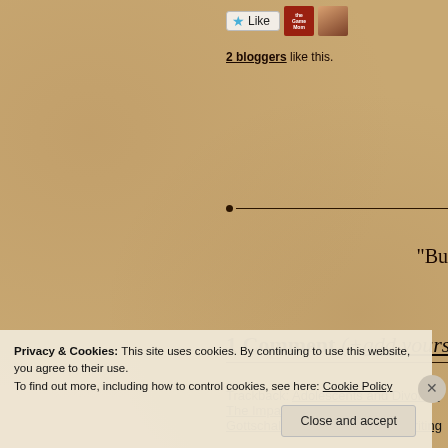[Figure (other): Like button with star icon and two blogger avatars]
2 bloggers like this.
[Figure (other): Horizontal divider with dot and line]
“Bu
1 Comment (+add yours?)
Trackback: Adolescents and Divorce: The Impact on Fam... Gottschalk’s Blog | Healing by Writing
Privacy & Cookies: This site uses cookies. By continuing to use this website, you agree to their use.
To find out more, including how to control cookies, see here: Cookie Policy
Close and accept